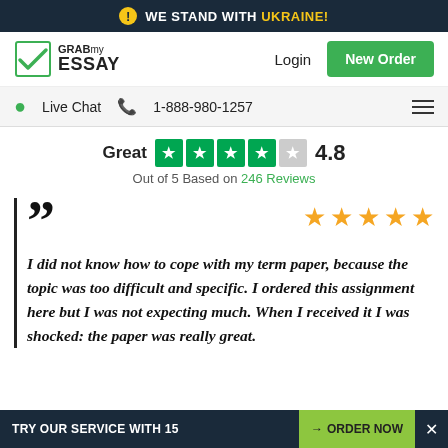WE STAND WITH UKRAINE!
[Figure (logo): GrabMyEssay logo with checkmark icon, Login link, and New Order green button]
Live Chat  1-888-980-1257
[Figure (infographic): Trustpilot rating: Great 4.8 out of 5 stars (4 green, 1 gray), Out of 5 Based on 246 Reviews]
Out of 5 Based on 246 Reviews
I did not know how to cope with my term paper, because the topic was too difficult and specific. I ordered this assignment here but I was not expecting much. When I received it I was shocked: the paper was really great.
TRY OUR SERVICE WITH 15  →ORDER NOW  ×